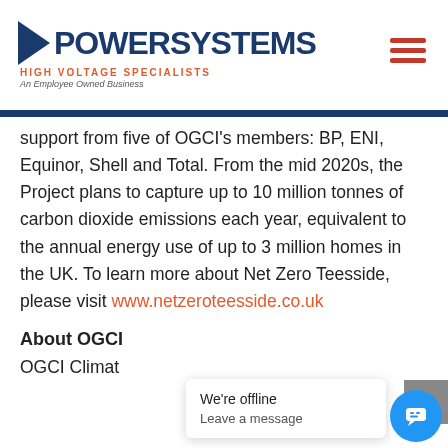POWERSYSTEMS | HIGH VOLTAGE SPECIALISTS | An Employee Owned Business
support from five of OGCI’s members: BP, ENI, Equinor, Shell and Total. From the mid 2020s, the Project plans to capture up to 10 million tonnes of carbon dioxide emissions each year, equivalent to the annual energy use of up to 3 million homes in the UK. To learn more about Net Zero Teesside, please visit www.netzeroteesside.co.uk
About OGCI
OGCI Climat…